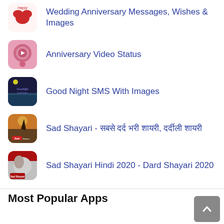Wedding Anniversary Messages, Wishes & Images
Anniversary Video Status
Good Night SMS With Images
Sad Shayari - सबसे दर्दभरी शायरी, दर्दीली शायरी
Sad Shayari Hindi 2020 - Dard Shayari 2020
Most Popular Apps